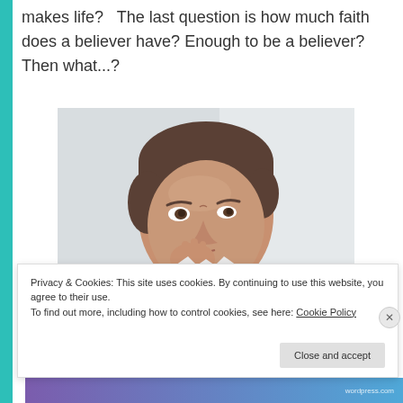makes life?   The last question is how much faith does a believer have? Enough to be a believer? Then what...?
[Figure (photo): A man in a light grey shirt with his hand raised to his chin in a thoughtful pose, looking off to the side]
Privacy & Cookies: This site uses cookies. By continuing to use this website, you agree to their use.
To find out more, including how to control cookies, see here: Cookie Policy
Close and accept